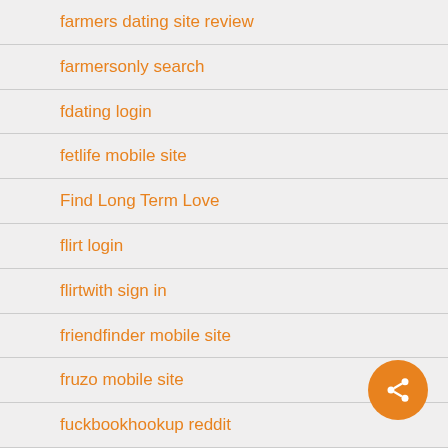farmers dating site review
farmersonly search
fdating login
fetlife mobile site
Find Long Term Love
flirt login
flirtwith sign in
friendfinder mobile site
fruzo mobile site
fuckbookhookup reddit
furfling sign in